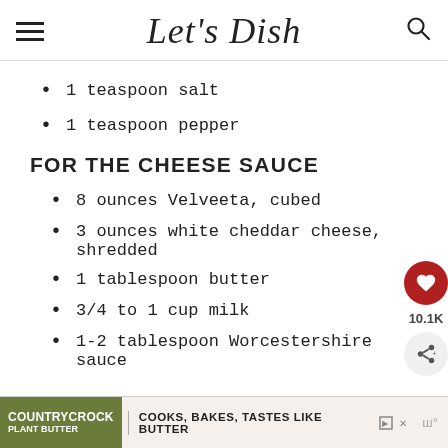Let's Dish
1 teaspoon salt
1 teaspoon pepper
FOR THE CHEESE SAUCE
8 ounces Velveeta, cubed
3 ounces white cheddar cheese, shredded
1 tablespoon butter
3/4 to 1 cup milk
1-2 tablespoon Worcestershire sauce
[Figure (other): Advertisement banner: Country Crock Plant Butter - COOKS, BAKES, TASTES LIKE BUTTER]